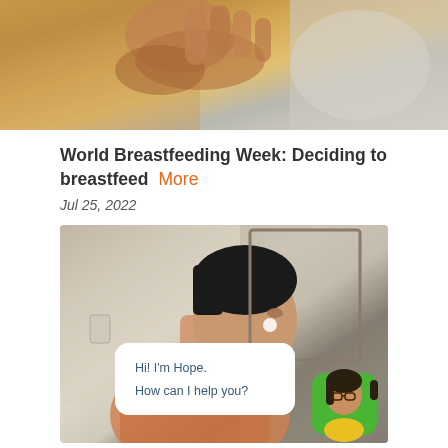[Figure (photo): Top portion of a photo showing hands, partially cropped, with warm yellowish and grey tones — appears to be a breastfeeding or parent-child scene]
World Breastfeeding Week: Deciding to breastfeed  More
Jul 25, 2022
[Figure (photo): A young man applying skincare or acne cream to his face while looking in a mirror. A chat widget overlay shows a chatbot named Hope with the message: 'Hi! I'm Hope. How can I help you?' and an avatar of an illustrated woman with glasses on a green background.]